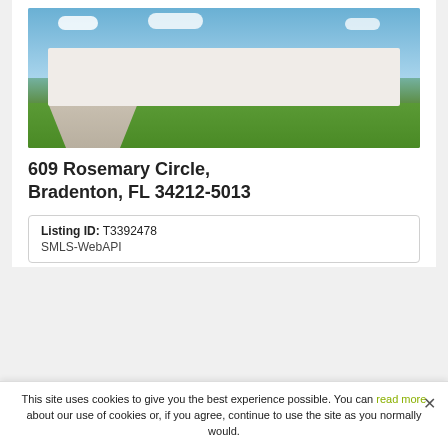[Figure (photo): Exterior photo of a white modern single-story house with dark roof, two-car garage, paved driveway, green lawn, palm trees, and blue sky with clouds at 609 Rosemary Circle, Bradenton, FL]
609 Rosemary Circle, Bradenton, FL 34212-5013
| Listing ID: T3392478 |
| SMLS-WebAPI |
This site uses cookies to give you the best experience possible. You can read more about our use of cookies or, if you agree, continue to use the site as you normally would.